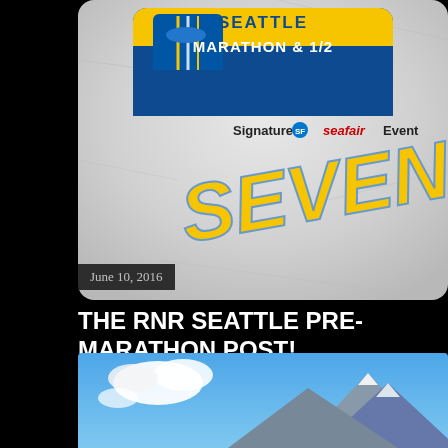[Figure (photo): Seattle Marathon and 1/2 race logo badge on crumpled paper background with the word SEVEN written in yellow italic text with blue outline, and 'Signature Seafair Event' text below logo]
June 10, 2016
THE RNR SEATTLE PRE-MARATHON POST!
Share    Post a Comment
[Figure (photo): Mountain landscape with blue sky and white clouds, snow-capped rocky peaks]